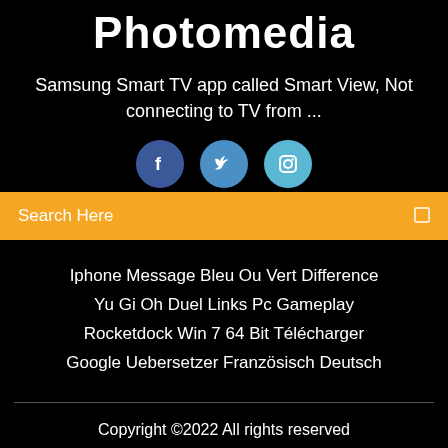Photomedia
Samsung Smart TV app called Smart View, Not connecting to TV from ...
[Figure (illustration): Three social media icon buttons: Facebook (dark blue circle with 'f'), Twitter (medium blue circle with bird icon), Instagram (light blue circle with camera icon)]
Search Here
Iphone Message Bleu Ou Vert Difference
Yu Gi Oh Duel Links Pc Gameplay
Rocketdock Win 7 64 Bit Télécharger
Google Uebersetzer Französisch Deutsch
Copyright ©2022 All rights reserved